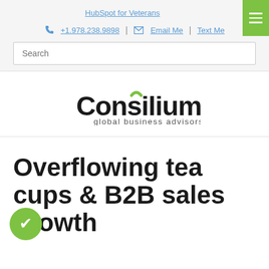HubSpot for Veterans
+1.978.238.9898 | Email Me | Text Me
Search
[Figure (logo): Consilium global business advisors logo with green arc above the letter i]
Overflowing tea cups & B2B sales growth